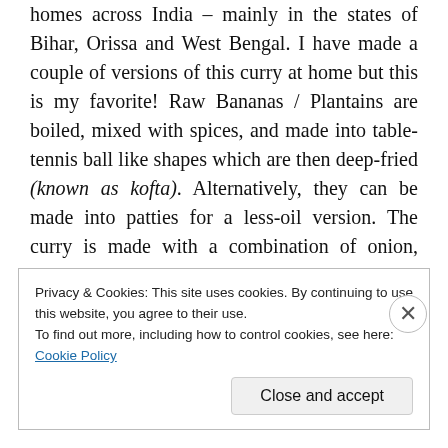homes across India – mainly in the states of Bihar, Orissa and West Bengal. I have made a couple of versions of this curry at home but this is my favorite! Raw Bananas / Plantains are boiled, mixed with spices, and made into table-tennis ball like shapes which are then deep-fried (known as kofta). Alternatively, they can be made into patties for a less-oil version. The curry is made with a combination of onion, tomato, ginger, garlic and dry spices together with almond paste for a subtle sweetness. The koftas are then soaked in the curry
Privacy & Cookies: This site uses cookies. By continuing to use this website, you agree to their use.
To find out more, including how to control cookies, see here: Cookie Policy
Close and accept